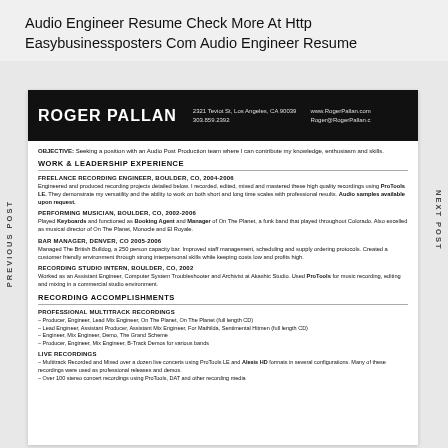Audio Engineer Resume Check More At Http Easybusinessposters Com Audio Engineer Resume
[Figure (screenshot): Screenshot of a resume for Roger Pallan, Audio Engineer, showing work experience and recording accomplishments]
PREVIOUS POST
NEXT POST